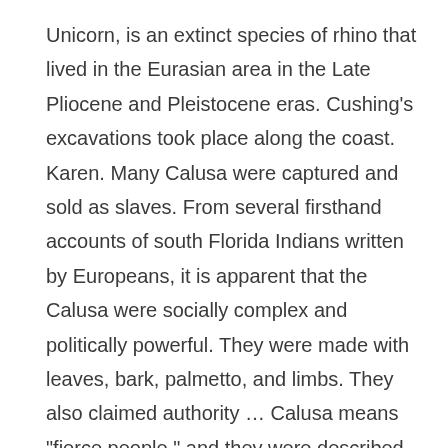Unicorn, is an extinct species of rhino that lived in the Eurasian area in the Late Pliocene and Pleistocene eras. Cushing's excavations took place along the coast. Karen. Many Calusa were captured and sold as slaves. From several firsthand accounts of south Florida Indians written by Europeans, it is apparent that the Calusa were socially complex and politically powerful. They were made with leaves, bark, palmetto, and limbs. They also claimed authority … Calusa means "fierce people," and they were described as a fierce, war-like people. This may be an exaggeration. Messiah on Temple Mount: Are We Nearing the End of Time? The calusa tribe where pretty much savages almost every person that came by them they either kill them or mooned them. The Calusa Indians were originally called the "Calos" which means